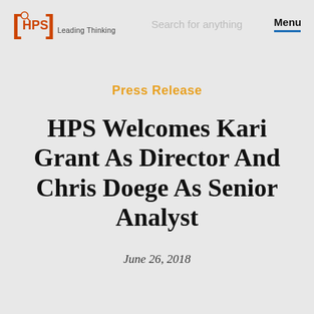[HPS] Leading Thinking | Search for anything | Menu
Press Release
HPS Welcomes Kari Grant As Director And Chris Doege As Senior Analyst
June 26, 2018